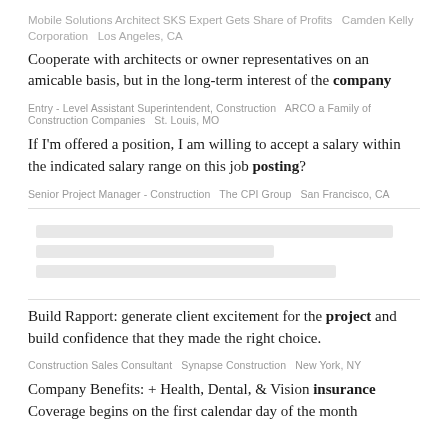Mobile Solutions Architect SKS Expert Gets Share of Profits   Camden Kelly Corporation   Los Angeles, CA
Cooperate with architects or owner representatives on an amicable basis, but in the long-term interest of the company
Entry - Level Assistant Superintendent, Construction   ARCO a Family of Construction Companies   St. Louis, MO
If I'm offered a position, I am willing to accept a salary within the indicated salary range on this job posting?
Senior Project Manager - Construction   The CPI Group   San Francisco, CA
[Figure (other): Three gray skeleton/placeholder loading bars]
Build Rapport: generate client excitement for the project and build confidence that they made the right choice.
Construction Sales Consultant   Synapse Construction   New York, NY
Company Benefits: + Health, Dental, & Vision insurance Coverage begins on the first calendar day of the month